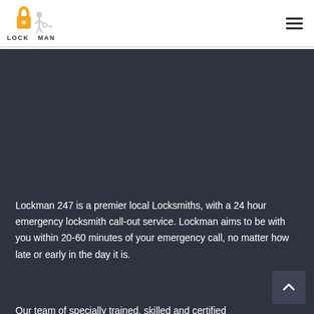[Figure (logo): Lockman 247 logo with orange padlock and figure holding keys, text reads LOCK MAN]
Lockman 247 is a premier local Locksmiths, with a 24 hour emergency locksmith call-out service. Lockman aims to be with you within 20-60 minutes of your emergency call, no matter how late or early in the day it is.
Our team of specially trained, skilled and certified